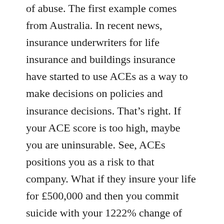of abuse. The first example comes from Australia. In recent news, insurance underwriters for life insurance and buildings insurance have started to use ACEs as a way to make decisions on policies and insurance decisions. That's right. If your ACE score is too high, maybe you are uninsurable. See, ACEs positions you as a risk to that company. What if they insure your life for £500,000 and then you commit suicide with your 1222% change of suicide as put forward by the ACEs study?
The second example comes from a local authority in the UK who made me aware of how ACEs were being used before they found out and commissioners pulled the pilot. In one area of the UK, ACEs scores were being used on pregnant women when they went to antenatal